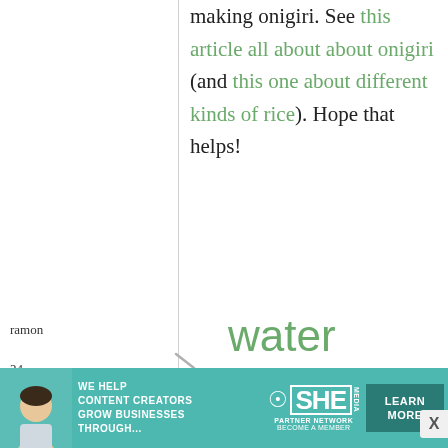making onigiri. See this article all about about onigiri (and this one about different kinds of rice). Hope that helps!
ramon
24 November, 2007 - 06:30
permalink
water temperature
i read in a sushi book
[Figure (other): Advertisement banner for SHE Media Partner Network: 'We help content creators grow businesses through...' with Learn More button]